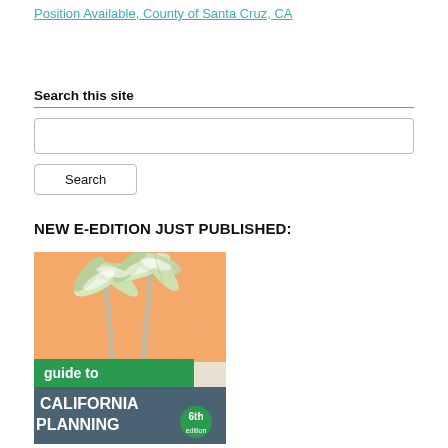Position Available, County of Santa Cruz, CA
Search this site
NEW E-EDITION JUST PUBLISHED:
[Figure (illustration): Book cover of 'Guide to California Planning, 6th edition' with palm tree and orange background illustration]